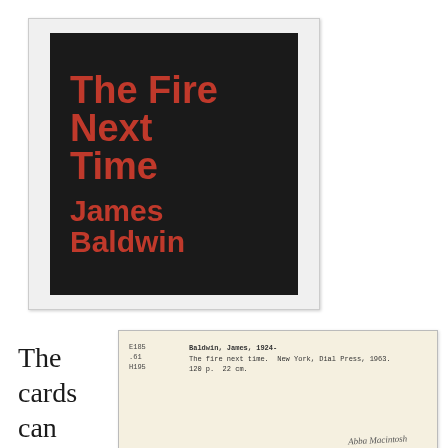[Figure (photo): Book cover of 'The Fire Next Time' by James Baldwin. Dark/black background with large bold red text reading 'The Fire Next Time' and 'James Baldwin'.]
[Figure (photo): Library catalog card for James Baldwin's 'The fire next time'. Shows call number E185.61 H195, entry: Baldwin, James, 1924- The fire next time. New York, Dial Press, 1963. 120 p. 22 cm. A signature appears on the card along with partial subject headings.]
The cards can also